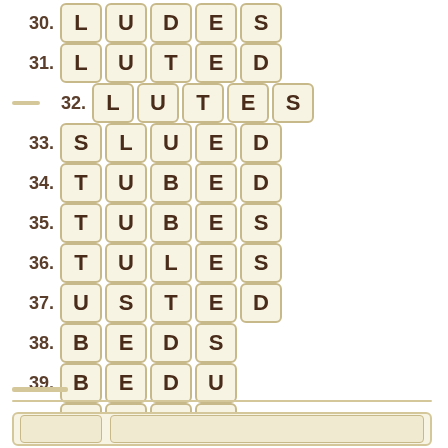30. L U D E S
31. L U T E D
— 32. L U T E S
33. S L U E D
34. T U B E D
35. T U B E S
36. T U L E S
37. U S T E D
38. B E D S
39. B E D U
40. B E L S